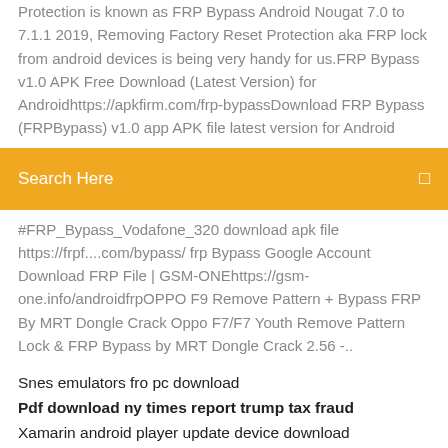Protection is known as FRP Bypass Android Nougat 7.0 to 7.1.1 2019, Removing Factory Reset Protection aka FRP lock from android devices is being very handy for us.FRP Bypass v1.0 APK Free Download (Latest Version) for Androidhttps://apkfirm.com/frp-bypassDownload FRP Bypass (FRPBypass) v1.0 app APK file latest version for Android
[Figure (screenshot): Orange search bar with text 'Search Here' and a search icon on the right]
#FRP_Bypass_Vodafone_320 download apk file https://frpf....com/bypass/ frp Bypass Google Account Download FRP File | GSM-ONEhttps://gsm-one.info/androidfrpOPPO F9 Remove Pattern + Bypass FRP By MRT Dongle Crack Oppo F7/F7 Youth Remove Pattern Lock & FRP Bypass by MRT Dongle Crack 2.56 -..
Snes emulators fro pc download
Pdf download ny times report trump tax fraud
Xamarin android player update device download